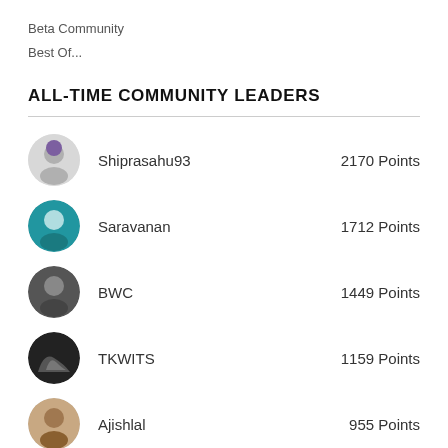Beta Community
Best Of...
ALL-TIME COMMUNITY LEADERS
Shiprasahu93 — 2170 Points
Saravanan — 1712 Points
BWC — 1449 Points
TKWITS — 1159 Points
Ajishlal — 955 Points
Preston — 648 Points
(partial row visible)